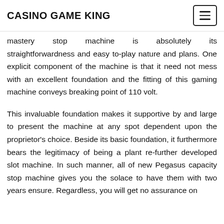CASINO GAME KING
mastery stop machine is absolutely its straightforwardness and easy to-play nature and plans. One explicit component of the machine is that it need not mess with an excellent foundation and the fitting of this gaming machine conveys breaking point of 110 volt.
This invaluable foundation makes it supportive by and large to present the machine at any spot dependent upon the proprietor's choice. Beside its basic foundation, it furthermore bears the legitimacy of being a plant re-further developed slot machine. In such manner, all of new Pegasus capacity stop machine gives you the solace to have them with two years ensure. Regardless, you will get no assurance on